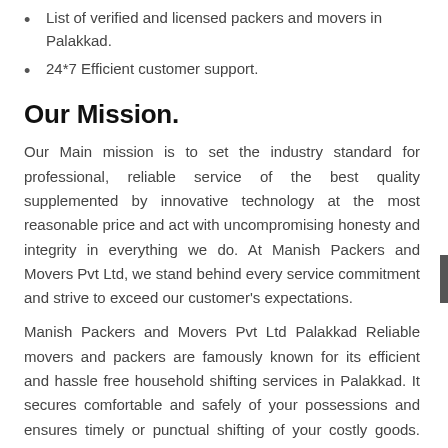List of verified and licensed packers and movers in Palakkad.
24*7 Efficient customer support.
Our Mission.
Our Main mission is to set the industry standard for professional, reliable service of the best quality supplemented by innovative technology at the most reasonable price and act with uncompromising honesty and integrity in everything we do. At Manish Packers and Movers Pvt Ltd, we stand behind every service commitment and strive to exceed our customer's expectations.
Manish Packers and Movers Pvt Ltd Palakkad Reliable movers and packers are famously known for its efficient and hassle free household shifting services in Palakkad. It secures comfortable and safely of your possessions and ensures timely or punctual shifting of your costly goods. Best movers and packers capacity and capability can certainly not